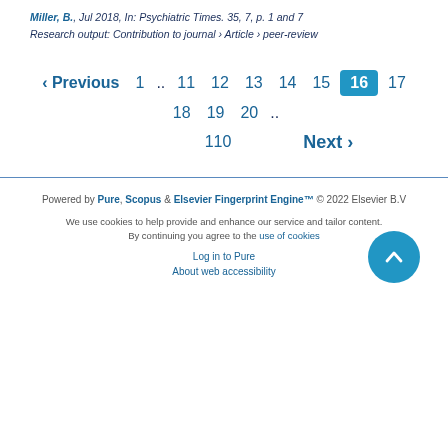Miller, B., Jul 2018, In: Psychiatric Times. 35, 7, p. 1 and 7
Research output: Contribution to journal › Article › peer-review
‹ Previous  1 .. 11 12 13 14 15 16 17 18 19 20 .. 110  Next ›
Powered by Pure, Scopus & Elsevier Fingerprint Engine™ © 2022 Elsevier B.V
We use cookies to help provide and enhance our service and tailor content. By continuing you agree to the use of cookies
Log in to Pure
About web accessibility